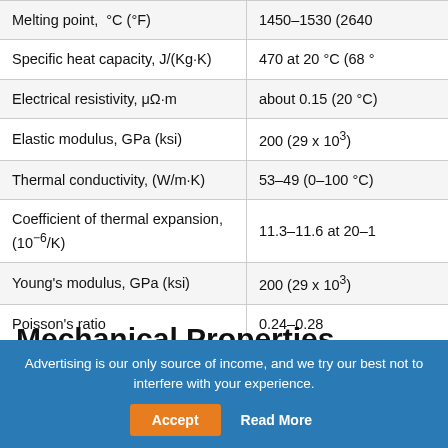| Property | Value |
| --- | --- |
| Melting point, °C (°F) | 1450–1530 (2640… |
| Specific heat capacity, J/(Kg·K) | 470 at 20 °C (68 … |
| Electrical resistivity, μΩ·m | about 0.15 (20 °C)… |
| Elastic modulus, GPa (ksi) | 200 (29 x 10³) |
| Thermal conductivity, (W/m·K) | 53–49 (0–100 °C) |
| Coefficient of thermal expansion, (10⁻⁶/K) | 11.3–11.6 at 20–1… |
| Young's modulus, GPa (ksi) | 200 (29 x 10³) |
| Poisson's ratio | 0.24–0.28 |
Mechanical Properties
Yield strength and tensile strength are listed in the
Advertising is our only source of income, and we try our best not to interfere with your experience.